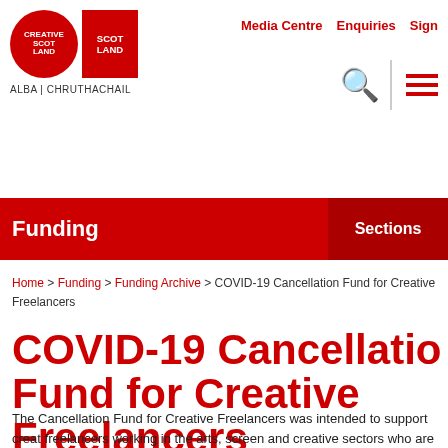Creative Scotland | ALBA | CHRUTHACHAIL | Media Centre | Enquiries | Sign
Funding   Sections
Home > Funding > Funding Archive > COVID-19 Cancellation Fund for Creative Freelancers
COVID-19 Cancellation Fund for Creative Freelancers
The Cancellation Fund for Creative Freelancers was intended to support creative freelancers working in the arts, screen and creative sectors who are experiencing immediate financial hardship due to the loss of income because of cancellation